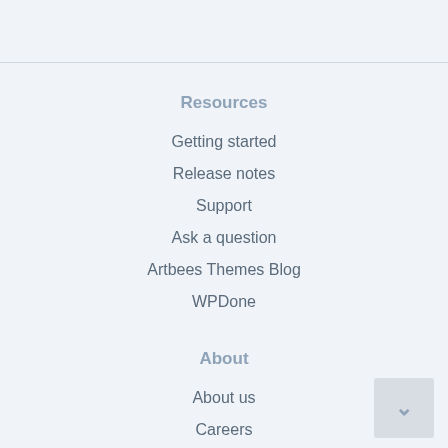Resources
Getting started
Release notes
Support
Ask a question
Artbees Themes Blog
WPDone
About
About us
Careers
Contact us